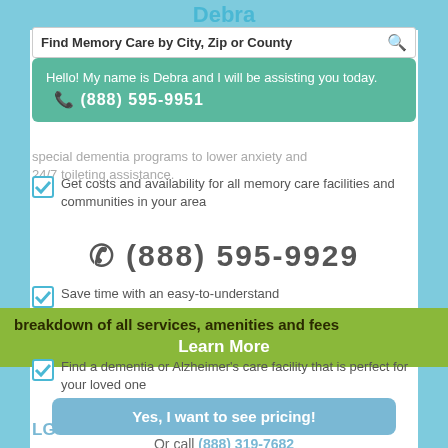Debra
Find Memory Care by City, Zip or County
Hello! My name is Debra and I will be assisting you today. ☎ (888) 595-9951
special dementia programs to lower anxiety and 24/7 toileting assistance.
Get costs and availability for all memory care facilities and communities in your area
(888) 595-9929
Save time with an easy-to-understand breakdown of all services, amenities and fees
Learn More
Find a dementia or Alzheimer's care facility that is perfect for your loved one
Yes, I want to see pricing!
LG TRINITY HOME CARE
Or call (888) 319-7682
Lg Trinity Home Care excels at providing memory